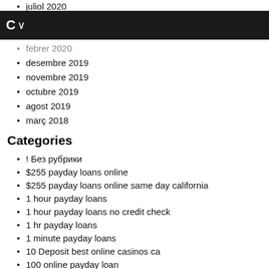juliol 2020
C~
febrer 2020
desembre 2019
novembre 2019
octubre 2019
agost 2019
març 2018
Categories
! Без рубрики
$255 payday loans online
$255 payday loans online same day california
1 hour payday loans
1 hour payday loans no credit check
1 hr payday loans
1 minute payday loans
10 Deposit best online casinos ca
100 online payday loan
100 online payday loans
1000 payday loans
12 month installment loans
12 months installment loans
1hr payday loans